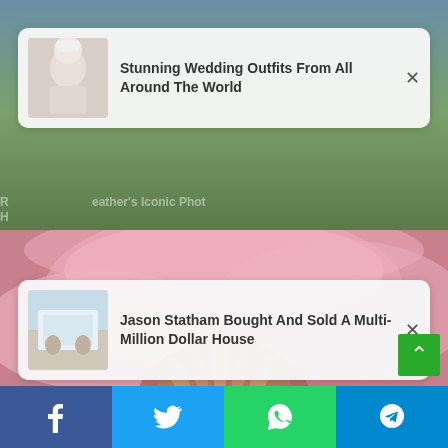[Figure (screenshot): Background image showing outdoor scene with green grass and what appears to be a crocodile or alligator]
Stunning Wedding Outfits From All Around The World
[Figure (screenshot): Background image showing an interior room with a person at a table]
Jason Statham Bought And Sold A Multi-Million Dollar House
[Figure (photo): Close-up photo of a pink fluffy flower with stamens visible in the center]
Facebook  Twitter  WhatsApp  Telegram